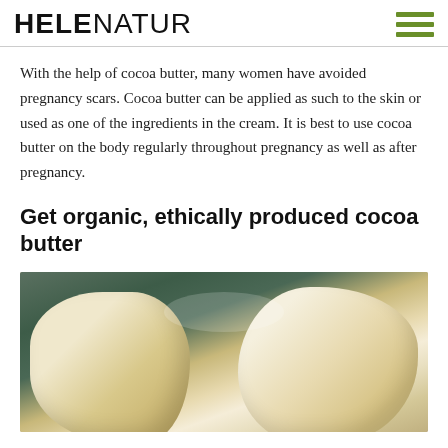HELENATUR
With the help of cocoa butter, many women have avoided pregnancy scars. Cocoa butter can be applied as such to the skin or used as one of the ingredients in the cream. It is best to use cocoa butter on the body regularly throughout pregnancy as well as after pregnancy.
Get organic, ethically produced cocoa butter
[Figure (photo): Close-up photo of raw cocoa butter chunks against a dark teal background]